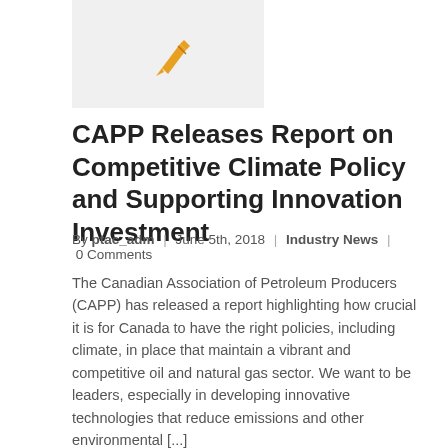[Figure (illustration): Orange pen icon on a light gray background thumbnail]
CAPP Releases Report on Competitive Climate Policy and Supporting Innovation Investment
By ptac_adm | June 5th, 2018 | Industry News | 0 Comments
The Canadian Association of Petroleum Producers (CAPP) has released a report highlighting how crucial it is for Canada to have the right policies, including climate, in place that maintain a vibrant and competitive oil and natural gas sector. We want to be leaders, especially in developing innovative technologies that reduce emissions and other environmental [...]
Read More
[Figure (other): Orange date box showing 23 / 03, 2018]
[Figure (other): Dark gray scroll-to-top button with upward chevron]